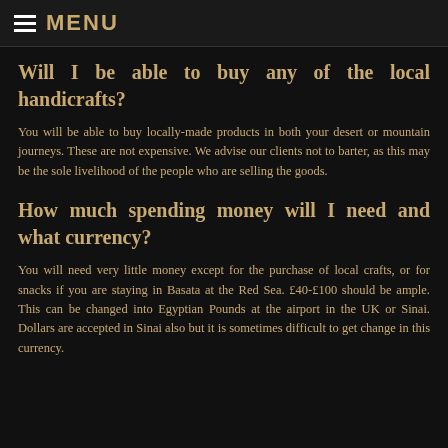MENU
Will I be able to buy any of the local handicrafts?
You will be able to buy locally-made products in both your desert or mountain journeys. These are not expensive. We advise our clients not to barter, as this may be the sole livelihood of the people who are selling the goods.
How much spending money will I need and what currency?
You will need very little money except for the purchase of local crafts, or for snacks if you are staying in Basata at the Red Sea. £40-£100 should be ample. This can be changed into Egyptian Pounds at the airport in the UK or Sinai. Dollars are accepted in Sinai also but it is sometimes difficult to get change in this currency.